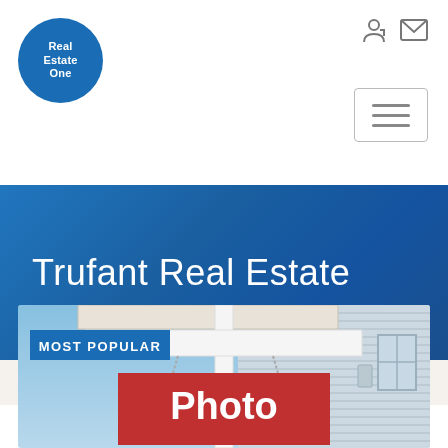[Figure (logo): Real Estate One circular blue logo]
[Figure (screenshot): Navigation icons: login arrow and envelope icons in top right corner]
[Figure (other): Hamburger menu button with three horizontal lines]
Trufant Real Estate
[Figure (photo): Real estate sign post with red hanging sign reading 'Photo', with 'MOST POPULAR' blue badge overlay. Background shows a house with white siding and blue sky.]